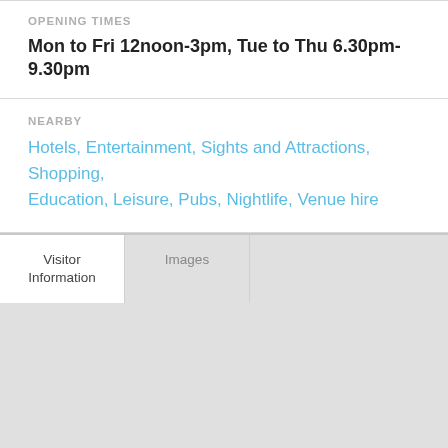OPENING TIMES
Mon to Fri 12noon-3pm, Tue to Thu 6.30pm-9.30pm
NEARBY
Hotels, Entertainment, Sights and Attractions, Shopping, Education, Leisure, Pubs, Nightlife, Venue hire
Visitor Information
Images